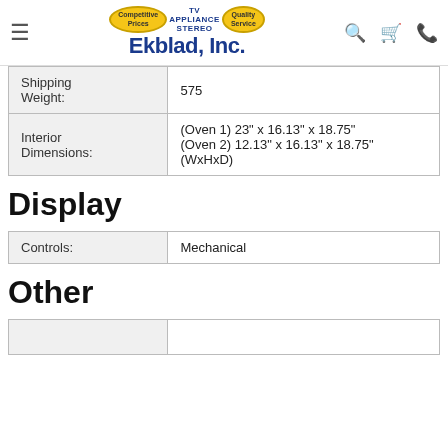[Figure (logo): Ekblad, Inc. TV Appliance Stereo logo with competitive prices and quality service badges]
| Shipping Weight: | 575 |
| Interior Dimensions: | (Oven 1) 23" x 16.13" x 18.75"
(Oven 2) 12.13" x 16.13" x 18.75"
(WxHxD) |
Display
| Controls: | Mechanical |
Other
|  |  |